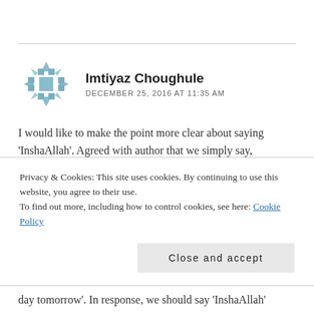[Figure (illustration): Geometric snowflake-style avatar in muted teal/grey color, used as comment author profile picture]
Imtiyaz Choughule
DECEMBER 25, 2016 AT 11:35 AM
I would like to make the point more clear about saying 'InshaAllah'. Agreed with author that we simply say, 'InshaAllah' without having clear intention to do some work / take any action.
InshaAllah is said when things / actions are going to happen in the future. We can procrastinate those actions in
Privacy & Cookies: This site uses cookies. By continuing to use this website, you agree to their use.
To find out more, including how to control cookies, see here: Cookie Policy
Close and accept
day tomorrow'. In response, we should say 'InshaAllah'